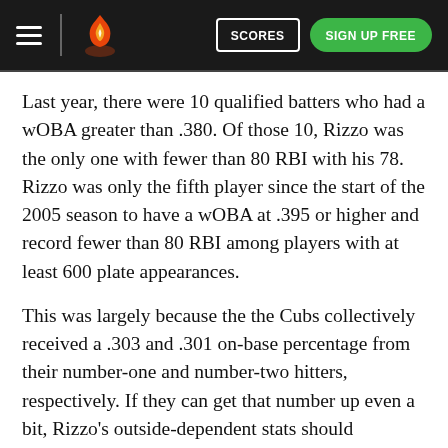Hotline FL — SCORES | SIGN UP FREE
Last year, there were 10 qualified batters who had a wOBA greater than .380. Of those 10, Rizzo was the only one with fewer than 80 RBI with his 78. Rizzo was only the fifth player since the start of the 2005 season to have a wOBA at .395 or higher and record fewer than 80 RBI among players with at least 600 plate appearances.
This was largely because the the Cubs collectively received a .303 and .301 on-base percentage from their number-one and number-two hitters, respectively. If they can get that number up even a bit, Rizzo's outside-dependent stats should increase.
Dexter Fowler has his share of faults. Getting on base is not one of them. Since 2011, he has posted